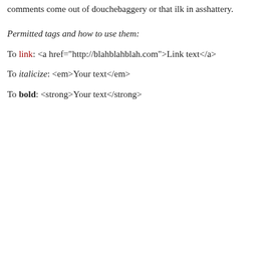comments come out of douchebaggery or that ilk in asshattery.
Permitted tags and how to use them:
To link: <a href="http://blahblahblah.com">Link text</a>
To italicize: <em>Your text</em>
To bold: <strong>Your text</strong>